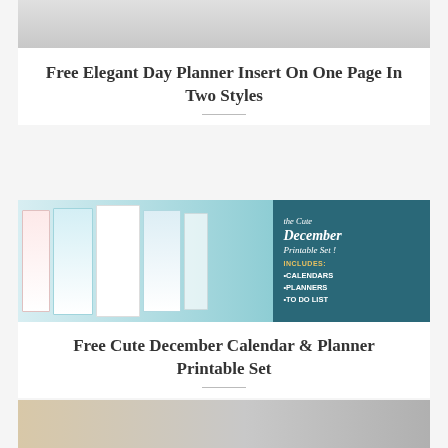[Figure (photo): Top portion of a planner insert photo, partially cropped]
Free Elegant Day Planner Insert On One Page In Two Styles
[Figure (photo): Cute December Calendar and Planner printable set showing multiple planner sheets on teal background, with dark teal panel on right listing: Calendars, Planners, To Do List]
Free Cute December Calendar & Planner Printable Set
[Figure (photo): Bottom portion of another blog post image, partially cropped]